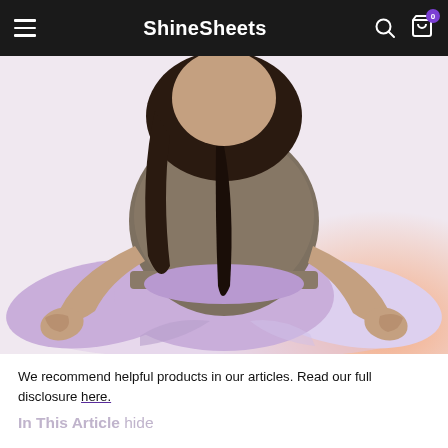ShineSheets
[Figure (photo): Person sitting cross-legged in a meditation pose on a light surface, wearing a grey crop top and lavender/purple pants, with hands resting on knees in a mudra. Hair is dark and long. Background is pale pink/white with an orange-pink gradient glow in the bottom right corner.]
We recommend helpful products in our articles. Read our full disclosure here.
In This Article hide